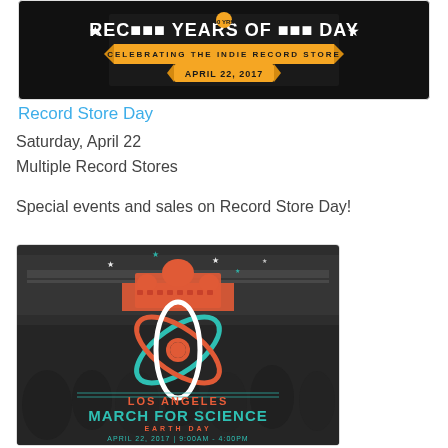[Figure (photo): Record Store Day 10 Years promotional image on dark background with orange banner text 'Celebrating the Indie Record Store' and 'April 22, 2017']
Record Store Day
Saturday, April 22
Multiple Record Stores
Special events and sales on Record Store Day!
[Figure (photo): Los Angeles March for Science event poster showing atom logo over a crowd photo background, with text: LOS ANGELES MARCH FOR SCIENCE, EARTH DAY, APRIL 22, 2017 | 9:00AM - 4:00PM]